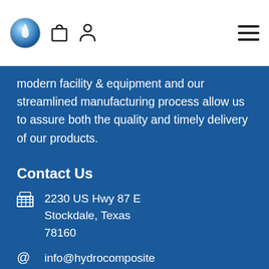[Figure (logo): Hydro Composites logo — blue water drop sphere icon]
modern facility & equipment and our streamlined manufacturing process allow us to assure both the quality and timely delivery of our products.
Contact Us
2230 US Hwy 87 E Stockdale, Texas 78160
info@hydrocomposites.com